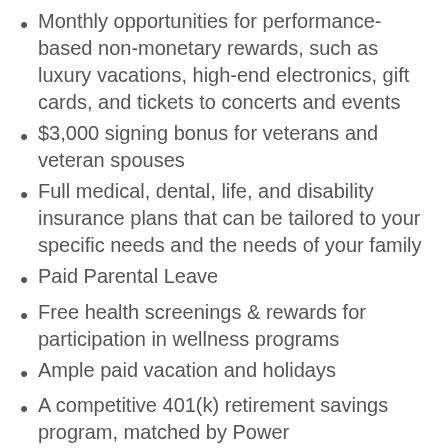Monthly opportunities for performance-based non-monetary rewards, such as luxury vacations, high-end electronics, gift cards, and tickets to concerts and events
$3,000 signing bonus for veterans and veteran spouses
Full medical, dental, life, and disability insurance plans that can be tailored to your specific needs and the needs of your family
Paid Parental Leave
Free health screenings & rewards for participation in wellness programs
Ample paid vacation and holidays
A competitive 401(k) retirement savings program, matched by Power
Access to the latest technology, such as laptops, smart phones, and tablets